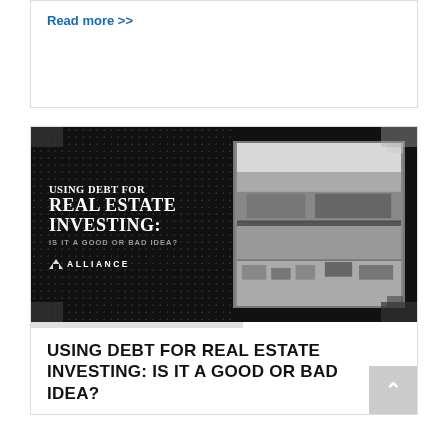Read more >>
[Figure (photo): Promotional banner image for an article about using debt for real estate investing. Dark background with dot pattern on the left showing text 'USING DEBT FOR REAL ESTATE INVESTING: IS IT A GOOD OR BAD IDEA?' and Alliance logo. Right side shows a black and white aerial photo of a commercial building with parking lot.]
USING DEBT FOR REAL ESTATE INVESTING: IS IT A GOOD OR BAD IDEA?